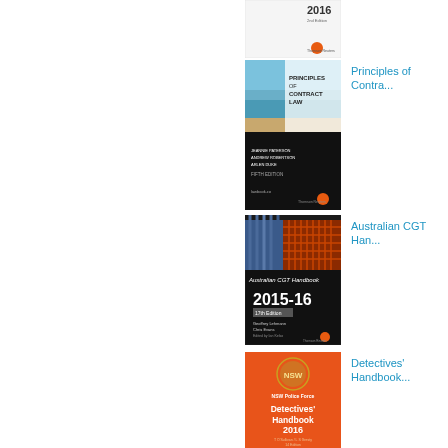[Figure (illustration): Book cover partially visible at top — white cover with '2016' text and Thomson Reuters logo at bottom]
[Figure (illustration): Book cover: 'Principles of Contract Law' — top half shows ocean/beach photo, bottom half black with white text listing authors, Fifth Edition, Thomson Reuters/LawBook Co logo]
Principles of Contra...
[Figure (illustration): Book cover: 'Australian CGT Handbook 2015-16' — dark cover with architectural/abstract photo, 17th edition, authors Geoffrey Lehmann and Chris Evans, Thomson Reuters logo]
Australian CGT Han...
[Figure (illustration): Book cover: 'Detectives' Handbook 2016' — orange cover with NSW Police Force badge/crest, authors listed at bottom]
Detectives' Handbook...